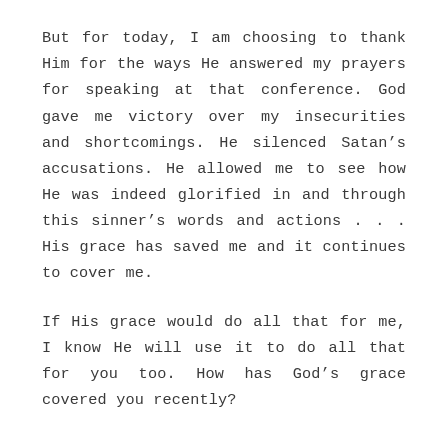But for today, I am choosing to thank Him for the ways He answered my prayers for speaking at that conference. God gave me victory over my insecurities and shortcomings. He silenced Satan's accusations. He allowed me to see how He was indeed glorified in and through this sinner's words and actions . . . His grace has saved me and it continues to cover me.

If His grace would do all that for me, I know He will use it to do all that for you too. How has God's grace covered you recently?